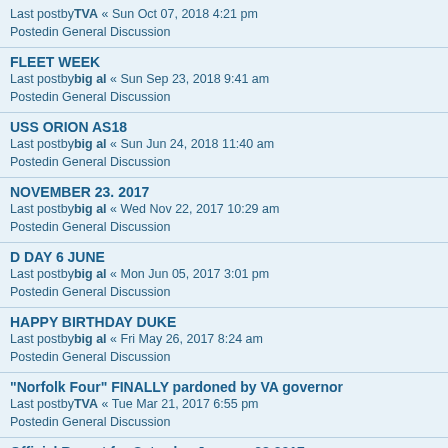Last postbyTVA « Sun Oct 07, 2018 4:21 pm
Postedin General Discussion
FLEET WEEK
Last postbybig al « Sun Sep 23, 2018 9:41 am
Postedin General Discussion
USS ORION AS18
Last postbybig al « Sun Jun 24, 2018 11:40 am
Postedin General Discussion
NOVEMBER 23. 2017
Last postbybig al « Wed Nov 22, 2017 10:29 am
Postedin General Discussion
D DAY 6 JUNE
Last postbybig al « Mon Jun 05, 2017 3:01 pm
Postedin General Discussion
HAPPY BIRTHDAY DUKE
Last postbybig al « Fri May 26, 2017 8:24 am
Postedin General Discussion
"Norfolk Four" FINALLY pardoned by VA governor
Last postbyTVA « Tue Mar 21, 2017 6:55 pm
Postedin General Discussion
Official Report for Saturday January 28 2017
Last postbyTVA « Fri Feb 03, 2017 10:27 pm
Postedin General Discussion
Official Report for Saturday January 21 2017
Last postbyTVA « Tue Jan 31, 2017 4:09 pm
Postedin General Discussion